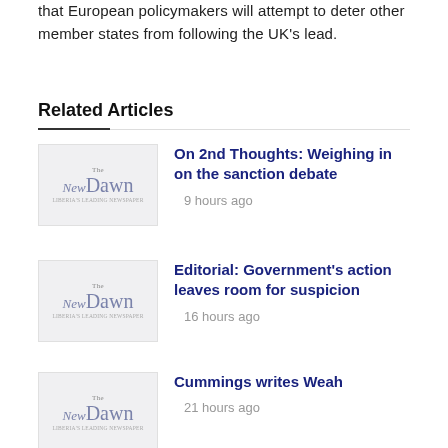that European policymakers will attempt to deter other member states from following the UK's lead.
Related Articles
On 2nd Thoughts: Weighing in on the sanction debate — 9 hours ago
Editorial: Government's action leaves room for suspicion — 16 hours ago
Cummings writes Weah — 21 hours ago